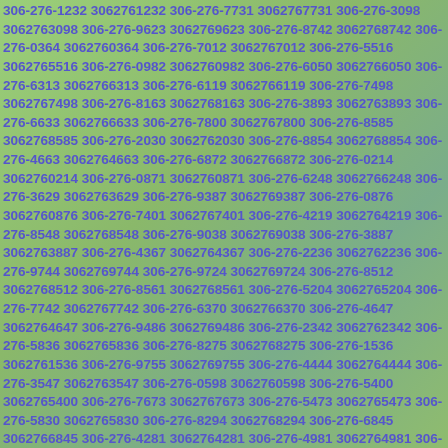306-276-1232 3062761232 306-276-7731 3062767731 306-276-3098 3062763098 306-276-9623 3062769623 306-276-8742 3062768742 306-276-0364 3062760364 306-276-7012 3062767012 306-276-5516 3062765516 306-276-0982 3062760982 306-276-6050 3062766050 306-276-6313 3062766313 306-276-6119 3062766119 306-276-7498 3062767498 306-276-8163 3062768163 306-276-3893 3062763893 306-276-6633 3062766633 306-276-7800 3062767800 306-276-8585 3062768585 306-276-2030 3062762030 306-276-8854 3062768854 306-276-4663 3062764663 306-276-6872 3062766872 306-276-0214 3062760214 306-276-0871 3062760871 306-276-6248 3062766248 306-276-3629 3062763629 306-276-9387 3062769387 306-276-0876 3062760876 306-276-7401 3062767401 306-276-4219 3062764219 306-276-8548 3062768548 306-276-9038 3062769038 306-276-3887 3062763887 306-276-4367 3062764367 306-276-2236 3062762236 306-276-9744 3062769744 306-276-9724 3062769724 306-276-8512 3062768512 306-276-8561 3062768561 306-276-5204 3062765204 306-276-7742 3062767742 306-276-6370 3062766370 306-276-4647 3062764647 306-276-9486 3062769486 306-276-2342 3062762342 306-276-5836 3062765836 306-276-8275 3062768275 306-276-1536 3062761536 306-276-9755 3062769755 306-276-4444 3062764444 306-276-3547 3062763547 306-276-0598 3062760598 306-276-5400 3062765400 306-276-7673 3062767673 306-276-5473 3062765473 306-276-5830 3062765830 306-276-8294 3062768294 306-276-6845 3062766845 306-276-4281 3062764281 306-276-4981 3062764981 306-276-2444 3062762444 306-276-5604 3062765604 306-276-9792 3062769792 306-276-3606 3062763606 306-276-4797 3062764797